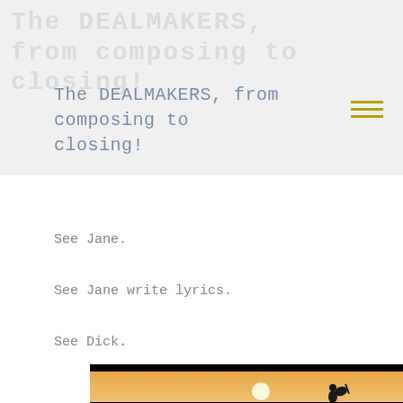The DEALMAKERS, from composing to closing!
See Jane.
See Jane write lyrics.
See Dick.
[Figure (photo): Silhouette of a person carrying a guitar on their back, walking against a bright sunset sky with warm orange and golden tones. A scroll-to-top button is visible in the lower right of the image.]